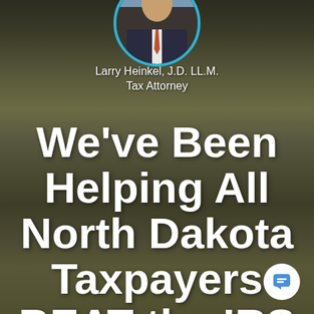[Figure (photo): Background image of a man in a suit (Larry Heinkel) against outdoor greenery, with circular portrait at top cropped in a circle with cyan/teal border. A white chat bubble icon appears in the lower right corner.]
Larry Heinkel, J.D. LL.M.
Tax Attorney
We've Been Helping All North Dakota Taxpayers BEAT the IRS